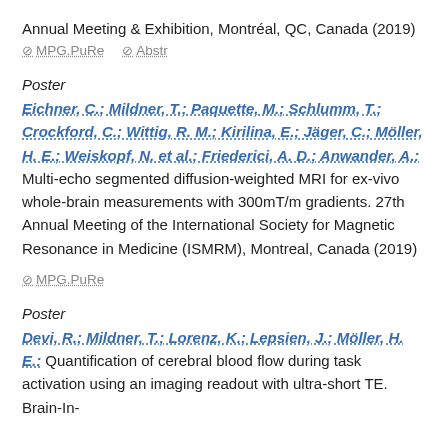Annual Meeting & Exhibition, Montréal, QC, Canada (2019)
MPG.PuRe   Abstr
Poster
Eichner, C.; Mildner, T.; Paquette, M.; Schlumm, T.; Crockford, C.; Wittig, R. M.; Kirilina, E.; Jäger, C.; Möller, H. E.; Weiskopf, N. et al.; Friederici, A. D.; Anwander, A.: Multi-echo segmented diffusion-weighted MRI for ex-vivo whole-brain measurements with 300mT/m gradients. 27th Annual Meeting of the International Society for Magnetic Resonance in Medicine (ISMRM), Montreal, Canada (2019)
MPG.PuRe
Poster
Devi, R.; Mildner, T.; Lorenz, K.; Lepsien, J.; Möller, H. E.: Quantification of cerebral blood flow during task activation using an imaging readout with ultra-short TE. Brain-In-